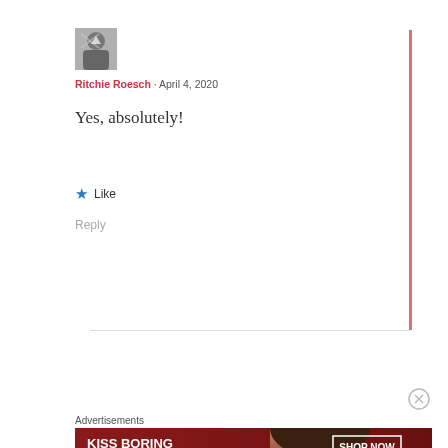[Figure (photo): User avatar thumbnail showing a person with arms crossed]
Ritchie Roesch · April 4, 2020
Yes, absolutely!
★ Like
Reply
Advertisements
[Figure (photo): Macy's advertisement banner: KISS BORING LIPS GOODBYE with SHOP NOW button and Macy's star logo]